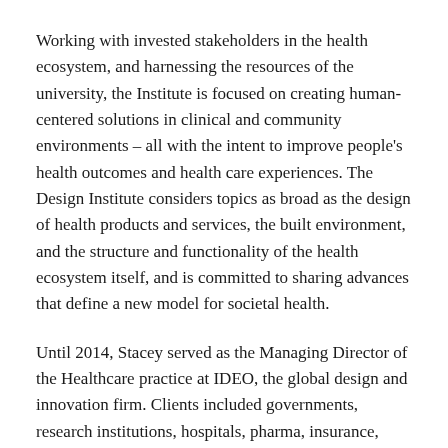Working with invested stakeholders in the health ecosystem, and harnessing the resources of the university, the Institute is focused on creating human-centered solutions in clinical and community environments – all with the intent to improve people's health outcomes and health care experiences. The Design Institute considers topics as broad as the design of health products and services, the built environment, and the structure and functionality of the health ecosystem itself, and is committed to sharing advances that define a new model for societal health.
Until 2014, Stacey served as the Managing Director of the Healthcare practice at IDEO, the global design and innovation firm. Clients included governments, research institutions, hospitals, pharma, insurance, medtech, and all the upstarts trying to rewrite the script, in both established and emerging markets.